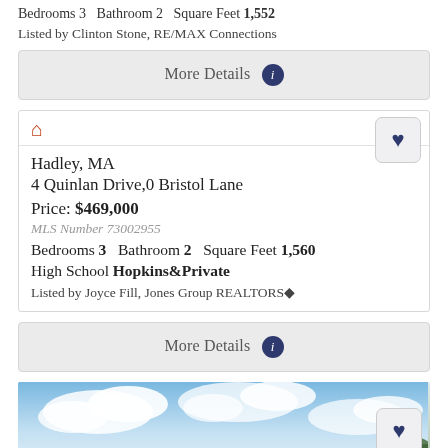Bedrooms 3   Bathroom 2   Square Feet 1,552
Listed by Clinton Stone, RE/MAX Connections
More Details
Hadley, MA
4 Quinlan Drive,0 Bristol Lane
Price: $469,000
MLS Number 73002955
Bedrooms 3   Bathroom 2   Square Feet 1,560
High School Hopkins&Private
Listed by Joyce Fill, Jones Group REALTORS
More Details
[Figure (photo): Sky with clouds and trees in lower right corner]